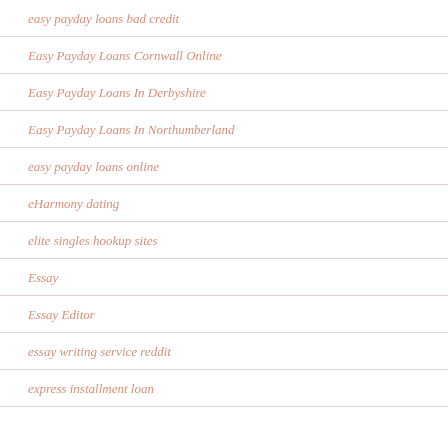easy payday loans bad credit
Easy Payday Loans Cornwall Online
Easy Payday Loans In Derbyshire
Easy Payday Loans In Northumberland
easy payday loans online
eHarmony dating
elite singles hookup sites
Essay
Essay Editor
essay writing service reddit
express installment loan